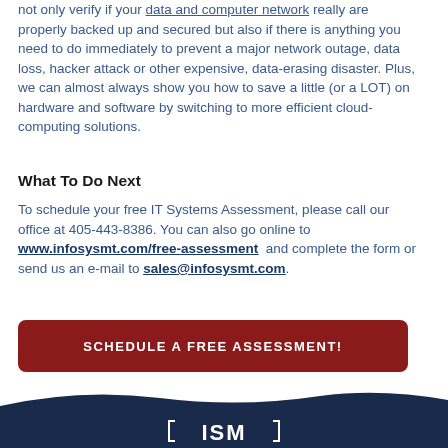not only verify if your data and computer network really are properly backed up and secured but also if there is anything you need to do immediately to prevent a major network outage, data loss, hacker attack or other expensive, data-erasing disaster. Plus, we can almost always show you how to save a little (or a LOT) on hardware and software by switching to more efficient cloud-computing solutions.
What To Do Next
To schedule your free IT Systems Assessment, please call our office at 405-443-8386. You can also go online to www.infosysmt.com/free-assessment and complete the form or send us an e-mail to sales@infosysmt.com.
[Figure (other): Red rounded rectangle button with white uppercase text: SCHEDULE A FREE ASSESSMENT!]
[Figure (logo): Dark navy blue footer area with ISM logo text in white at the bottom of the page]